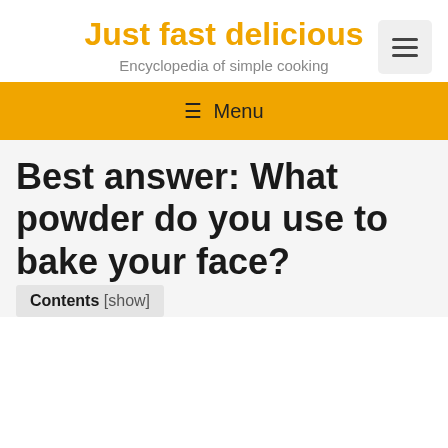Just fast delicious
Encyclopedia of simple cooking
≡ Menu
Best answer: What powder do you use to bake your face?
Contents [show]